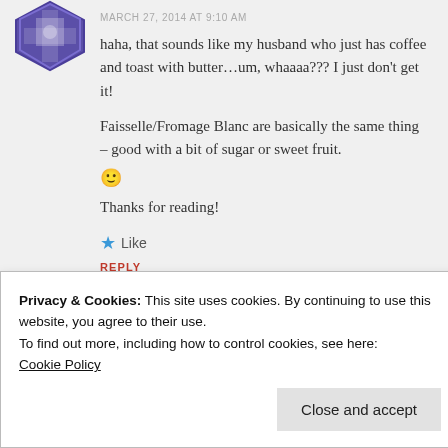MARCH 27, 2014 AT 9:10 AM
haha, that sounds like my husband who just has coffee and toast with butter…um, whaaaa??? I just don't get it!
Faisselle/Fromage Blanc are basically the same thing – good with a bit of sugar or sweet fruit. 🙂
Thanks for reading!
★ Like
REPLY
Privacy & Cookies: This site uses cookies. By continuing to use this website, you agree to their use.
To find out more, including how to control cookies, see here: Cookie Policy
Close and accept